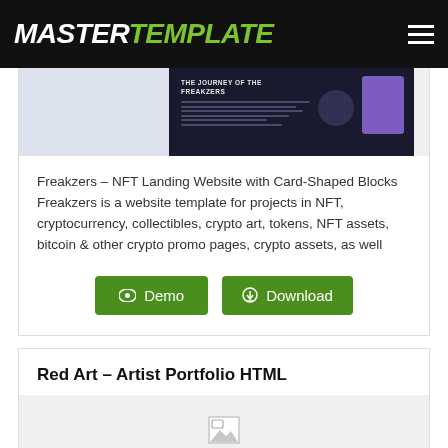MASTERTEMPLATE
[Figure (screenshot): Preview screenshot of Freakzers NFT landing page with dark background and purple element]
Freakzers – NFT Landing Website with Card-Shaped Blocks Freakzers is a website template for projects in NFT, cryptocurrency, collectibles, crypto art, tokens, NFT assets, bitcoin & other crypto promo pages, crypto assets, as well
Demo    Download
Red Art – Artist Portfolio HTML
[Figure (photo): Broken image placeholder for Red Art portfolio preview]
Red Art a Creative & Artistic Portfolio HTML Theme.